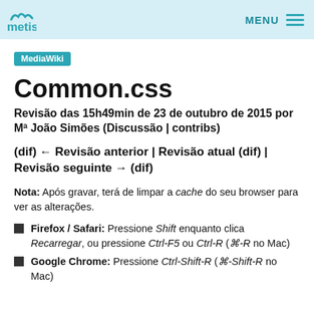metis | MENU
MediaWiki
Common.css
Revisão das 15h49min de 23 de outubro de 2015 por Mª João Simões (Discussão | contribs)
(dif) ← Revisão anterior | Revisão atual (dif) | Revisão seguinte → (dif)
Nota: Após gravar, terá de limpar a cache do seu browser para ver as alterações.
Firefox / Safari: Pressione Shift enquanto clica Recarregar, ou pressione Ctrl-F5 ou Ctrl-R (⌘-R no Mac)
Google Chrome: Pressione Ctrl-Shift-R (⌘-Shift-R no Mac)